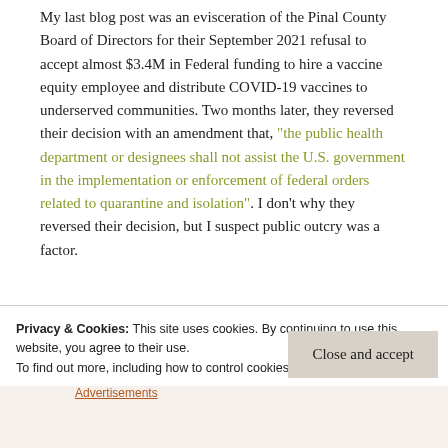My last blog post was an evisceration of the Pinal County Board of Directors for their September 2021 refusal to accept almost $3.4M in Federal funding to hire a vaccine equity employee and distribute COVID-19 vaccines to underserved communities. Two months later, they reversed their decision with an amendment that, "the public health department or designees shall not assist the U.S. government in the implementation or enforcement of federal orders related to quarantine and isolation". I don't why they reversed their decision, but I suspect public outcry was a factor.
Privacy & Cookies: This site uses cookies. By continuing to use this website, you agree to their use. To find out more, including how to control cookies, see here: Cookie Policy
Close and accept
Advertisements